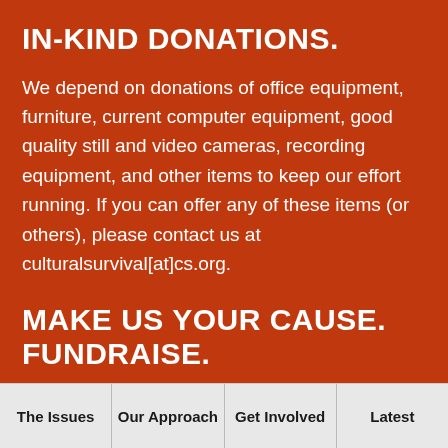IN-KIND DONATIONS.
We depend on donations of office equipment, furniture, current computer equipment, good quality still and video cameras, recording equipment, and other items to keep our effort running. If you can offer any of these items (or others), please contact us at culturalsurvival[at]cs.org.
MAKE US YOUR CAUSE. FUNDRAISE.
Fundraisers can be a lot of fun to coordinate or
The Issues | Our Approach | Get Involved | Latest